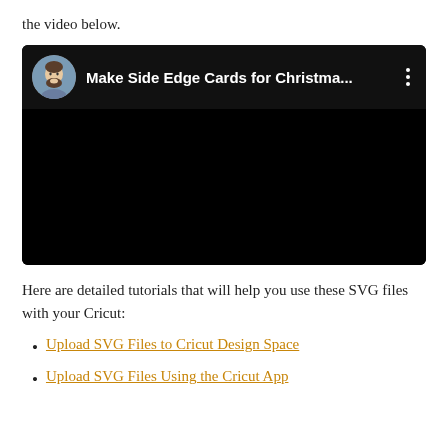the video below.
[Figure (screenshot): Embedded YouTube video thumbnail showing a man with a beard resting his chin on his hand, with the title 'Make Side Edge Cards for Christma...' and a three-dot menu icon on a dark background.]
Here are detailed tutorials that will help you use these SVG files with your Cricut:
Upload SVG Files to Cricut Design Space
Upload SVG Files Using the Cricut App